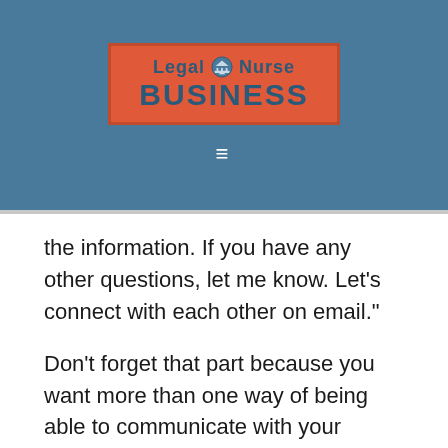[Figure (logo): Legal Nurse Business logo with red/orange background and blue text, with a hamburger menu icon below on a steel blue header bar]
the information. If you have any other questions, let me know. Let’s connect with each other on email.”
Don’t forget that part because you want more than one way of being able to communicate with your prospect. If that person called you, you’re already connected by phone. Make sure you have the email address, repeat it back for accuracy and send that person an email that serves as a summary on the